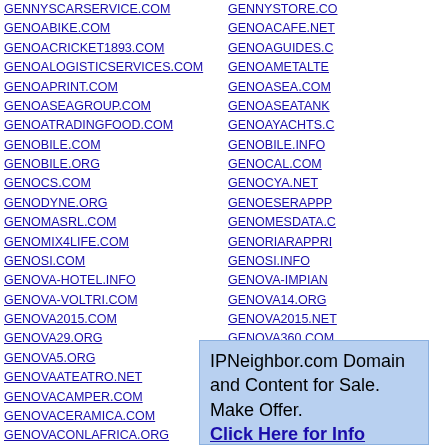GENNYSCARSERVICE.COM
GENOABIKE.COM
GENOACRICKET1893.COM
GENOALOGISTICSERVICES.COM
GENOAPRINT.COM
GENOASEAGROUP.COM
GENOATRADINGFOOD.COM
GENOBILE.COM
GENOBILE.ORG
GENOCS.COM
GENODYNE.ORG
GENOMASRL.COM
GENOMIX4LIFE.COM
GENOSI.COM
GENOVA-HOTEL.INFO
GENOVA-VOLTRI.COM
GENOVA2015.COM
GENOVA29.ORG
GENOVA5.ORG
GENOVAATEATRO.NET
GENOVACAMPER.COM
GENOVACERAMICA.COM
GENOVACONLAFRICA.ORG
GENOVADENTISTA.COM
GENOVADOVE.NET
GENOVAFILMFESTIVAL.ORG
GENOVAGUIDA.COM
GENOVAHOTEL.BIZ
GENNYSTORE.CO...
GENOACAFE.NET
GENOAGUIDES.C...
GENOAMETALTE...
GENOASEA.COM
GENOASEATANK...
GENOAYACHTS.C...
GENOBILE.INFO
GENOCAL.COM
GENOCYA.NET
GENOESERAPPР...
GENOMESDATA.C...
GENORIARAPPRI...
GENOSI.INFO
GENOVA-IMPIAN...
GENOVA14.ORG
GENOVA2015.NET
GENOVA360.COM
GENOVAASTE.CO...
GENOVAATEATR0...
GENOVACARDS.C...
GENOVACIALDE...
GENOVACULTUR...
IPNeighbor.com Domain and Content for Sale. Make Offer. Click Here for Info